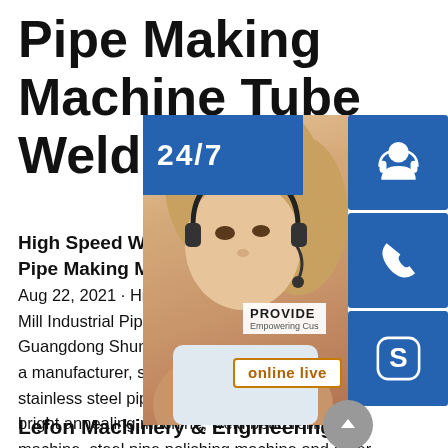Pipe Making Machine Tube Welding Mach[ine]
High Speed Welding Steel Tube Pipe Making Machine
Aug 22, 2021 · High Speed Welding Steel Tube Mill Industrial Pipe Making Machine. Guangdong Shunde Seko Machinery Co... a manufacturer, specializing in industrial stainless steel pipe making machine, on-line bright annealing machine, weld bead rolling machine, steel pipe polishing machine and other tube mill components.
[Figure (infographic): Customer service overlay showing a woman with headset, 24/7 banner, blue icon buttons for chat, phone, and Skype, PROVIDE Empowering Customers text, online live button, and scroll-up arrow button]
Lefon Machinery & Engineering